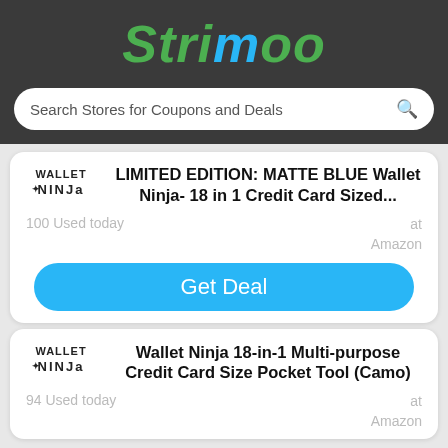Strimoo
Search Stores for Coupons and Deals
LIMITED EDITION: MATTE BLUE Wallet Ninja- 18 in 1 Credit Card Sized...
100 Used today
at Amazon
Get Deal
Wallet Ninja 18-in-1 Multi-purpose Credit Card Size Pocket Tool (Camo)
94 Used today
at Amazon